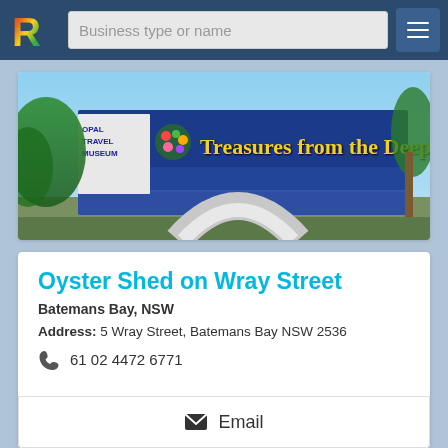Business type or name
[Figure (photo): Exterior photo of a building with a blue facade and yellow text reading 'Treasures from the Deep', with trees in the foreground and a clear sky background. A white sign on the left reads 'OPAL TRAVEL MUSEUM'.]
Oyster Shed on Wray Street
Batemans Bay, NSW
Address: 5 Wray Street, Batemans Bay NSW 2536
61 02 4472 6771
Email